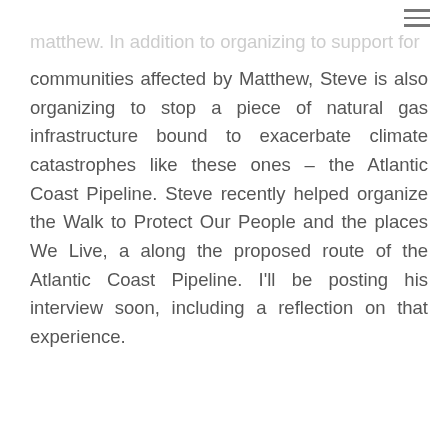≡
Matthew. In addition to organizing to support for communities affected by Matthew, Steve is also organizing to stop a piece of natural gas infrastructure bound to exacerbate climate catastrophes like these ones – the Atlantic Coast Pipeline. Steve recently helped organize the Walk to Protect Our People and the places We Live, a along the proposed route of the Atlantic Coast Pipeline. I'll be posting his interview soon, including a reflection on that experience.